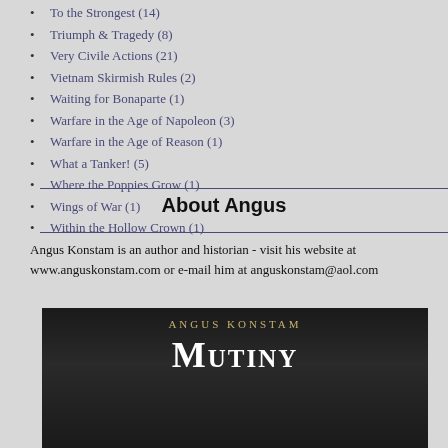To the Strongest (14)
Triumph & Tragedy (8)
Very Civile Actions (21)
Vietnam Skirmish Rules (2)
Waiting for Bonaparte (1)
Warfare in the Age of Napoleon (3)
Warfare in the Age of Reason (1)
What a Tanker! (5)
Where the Poppies Grow (1)
Wings of War (1)
Within the Hollow Crown (1)
About Angus
Angus Konstam is an author and historian - visit his website at www.anguskonstam.com or e-mail him at anguskonstam@aol.com
[Figure (photo): Book cover showing 'Mutiny' by Angus Konstam, dark background with gold author name and white title text in small caps]